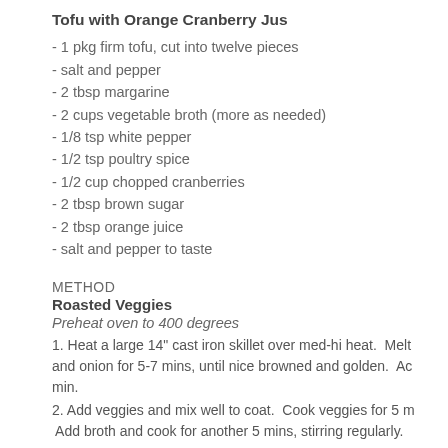Tofu with Orange Cranberry Jus
- 1 pkg firm tofu, cut into twelve pieces
- salt and pepper
- 2 tbsp margarine
- 2 cups vegetable broth (more as needed)
- 1/8 tsp white pepper
- 1/2 tsp poultry spice
- 1/2 cup chopped cranberries
- 2 tbsp brown sugar
- 2 tbsp orange juice
- salt and pepper to taste
METHOD
Roasted Veggies
Preheat oven to 400 degrees
1. Heat a large 14" cast iron skillet over med-hi heat.  Melt and onion for 5-7 mins, until nice browned and golden.  Ac min.
2. Add veggies and mix well to coat.  Cook veggies for 5 m Add broth and cook for another 5 mins, stirring regularly.